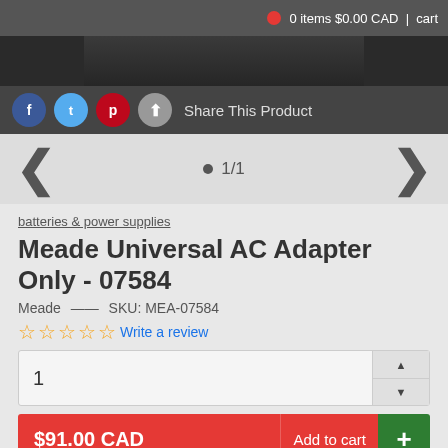0 items $0.00 CAD  |  cart
[Figure (screenshot): Product image of Meade AC adapter cable on dark background]
Share This Product
1/1
batteries & power supplies
Meade Universal AC Adapter Only - 07584
Meade  —  SKU: MEA-07584
Write a review
1
$91.00 CAD   Add to cart  +
CAD